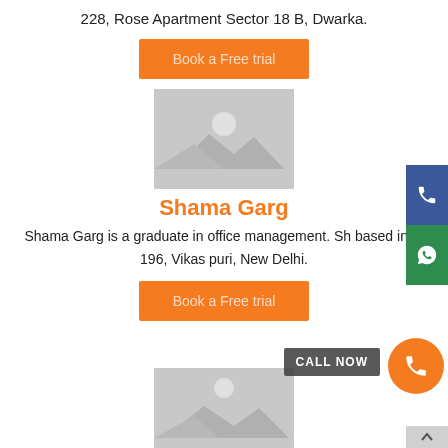228, Rose Apartment Sector 18 B, Dwarka.
[Figure (other): Orange button labeled 'Book a Free trial']
[Figure (photo): Placeholder image with grey background and white mountain/landscape icon]
Shama Garg
Shama Garg is a graduate in office management. She is based in M 196, Vikas puri, New Delhi.
[Figure (other): Orange button labeled 'Book a Free trial']
[Figure (photo): Placeholder image with grey background, partially visible at bottom of page]
[Figure (other): Side panel with blue phone icon button and green WhatsApp icon button]
[Figure (other): CALL NOW badge and orange circular phone button]